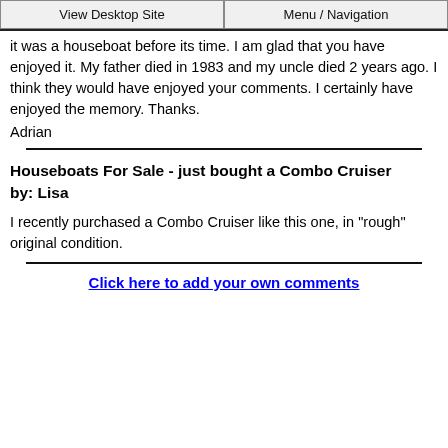View Desktop Site | Menu / Navigation
it was a houseboat before its time. I am glad that you have enjoyed it. My father died in 1983 and my uncle died 2 years ago. I think they would have enjoyed your comments. I certainly have enjoyed the memory. Thanks.
Adrian
Houseboats For Sale - just bought a Combo Cruiser
by: Lisa
I recently purchased a Combo Cruiser like this one, in "rough" original condition.
Click here to add your own comments